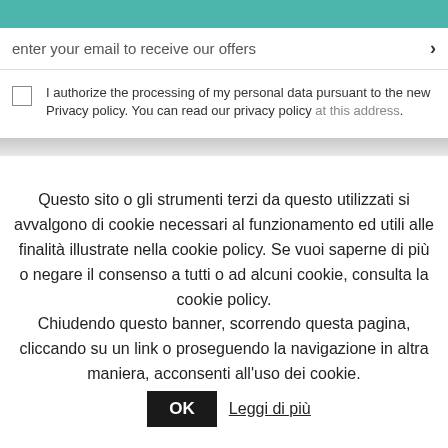[Figure (screenshot): Teal/green colored bar at top of page]
enter your email to receive our offers ›
I authorize the processing of my personal data pursuant to the new Privacy policy. You can read our privacy policy at this address.
Questo sito o gli strumenti terzi da questo utilizzati si avvalgono di cookie necessari al funzionamento ed utili alle finalità illustrate nella cookie policy. Se vuoi saperne di più o negare il consenso a tutti o ad alcuni cookie, consulta la cookie policy. Chiudendo questo banner, scorrendo questa pagina, cliccando su un link o proseguendo la navigazione in altra maniera, acconsenti all'uso dei cookie.
OK  Leggi di più